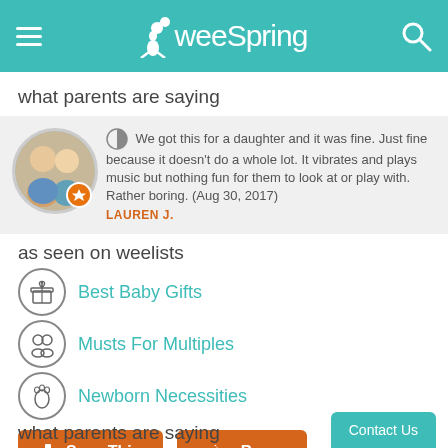weeSpring
what parents are saying
We got this for a daughter and it was fine. Just fine because it doesn't do a whole lot. It vibrates and plays music but nothing fun for them to look at or play with. Rather boring. (Aug 30, 2017) LAUREN J.
as seen on weelists
Best Baby Gifts
Musts For Multiples
Newborn Necessities
Save This
Buy
Contact Us
what parents are saying